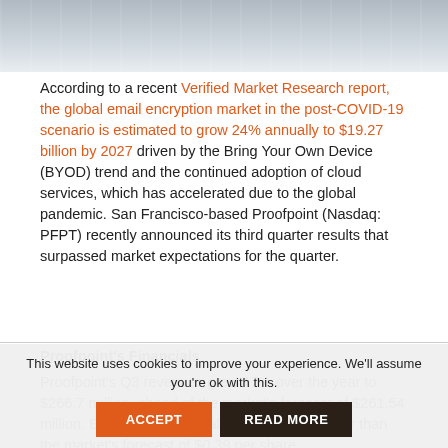[Figure (photo): Partial photo of a laptop/desk scene, grayscale-toned, shown at top of page cropped]
According to a recent Verified Market Research report, the global email encryption market in the post-COVID-19 scenario is estimated to grow 24% annually to $19.27 billion by 2027 driven by the Bring Your Own Device (BYOD) trend and the continued adoption of cloud services, which has accelerated due to the global pandemic. San Francisco-based Proofpoint (Nasdaq: PFPT) recently announced its third quarter results that surpassed market expectations for the quarter.
Proofpoint's Financials
Proofpoint's Q3 revenues grew 17% over the year to $266.7 million, ahead of the market's forecast of $261.54 million. EPS of $0.59 was also significantly better than the market's forecast of $0.39 per share.

By segment, Subscription revenues grew 16.2% to $260.7 million. Hardware and services revenues grew 92.8% to $6 million. Billings grew 6% to $294.4 million.
This website uses cookies to improve your experience. We'll assume you're ok with this. ACCEPT READ MORE